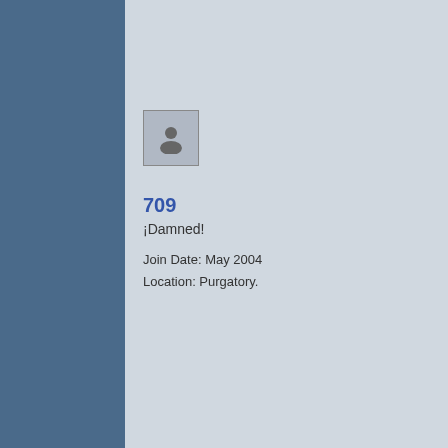have time to compose messages and edit them before and after posting.
quote
709
¡Damned!
Join Date: May 2004
Location: Purgatory.
2018-08-18, 17:18
I did some farting around yesterday just to see if that .dat thing might mean structures and whatnot would be placed differently between versions, and the results were: not really. Out of 5 villages, 2 temples and 1 monument found in a random 1.12 seed, all but one village spawned at the same place in 1.13, with the other village just not there at all.

It also looks like the chest data for villages, temples, et al are stored in the level.dat file, not in the associated villages.dat etc. So yeah...